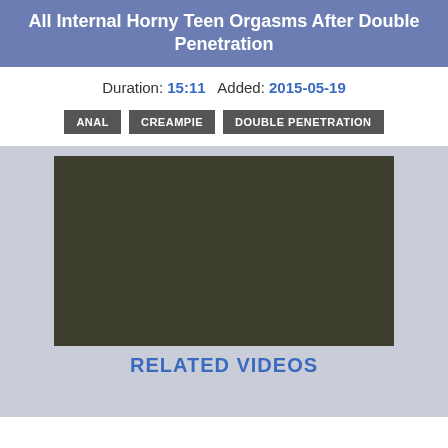All Internal Horny Teen Orgasms After Double Penetration
Duration: 15:11  Added: 2015-05-19
ANAL
CREAMPIE
DOUBLE PENETRATION
[Figure (other): Dark video player placeholder area]
RELATED VIDEOS
[Figure (photo): Thumbnail strip of related videos at bottom]